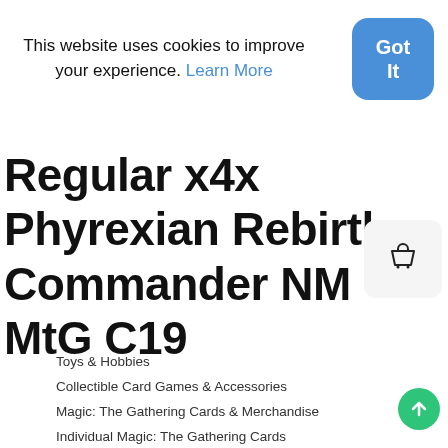This website uses cookies to improve your experience. Learn More
[Figure (other): Blue rounded rectangle button with white text 'Got It']
Regular x4x Phyrexian Rebirth Commander NM MtG C19
[Figure (other): Shopping bag icon in a light gray rounded square]
Toys & Hobbies
Collectible Card Games & Accessories
Magic: The Gathering Cards & Merchandise
Individual Magic: The Gathering Cards
[Figure (other): Green circular scroll-to-top button with upward arrow]